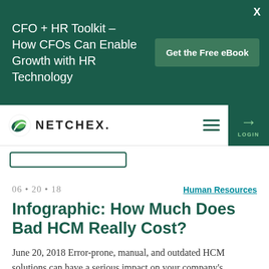CFO + HR Toolkit - How CFOs Can Enable Growth with HR Technology — Get the Free eBook
[Figure (logo): Netchex company logo with green leaf icon and wordmark]
06 • 20 • 18    Human Resources
Infographic: How Much Does Bad HCM Really Cost?
June 20, 2018 Error-prone, manual, and outdated HCM solutions can have a serious impact on your company's profitability. Here's a look at some of the costs associated